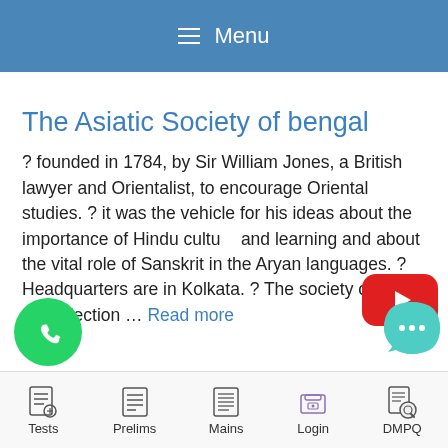Menu
The Asiatic Society of bengal
? founded in 1784, by Sir William Jones, a British lawyer and Orientalist, to encourage Oriental studies. ? it was the vehicle for his ideas about the importance of Hindu cultu and learning and about the vital role of Sanskrit in the Aryan languages. ? Headquarters are in Kolkata. ? The society owns an art collection … Read more
[Figure (logo): YouTube play button icon (red rounded rectangle with white triangle)]
[Figure (logo): WhatsApp icon - green circle with white phone]
[Figure (logo): Chat bubble icon - teal/green speech bubble with ellipsis]
Tests  Prelims  Mains  Login  DMPQ